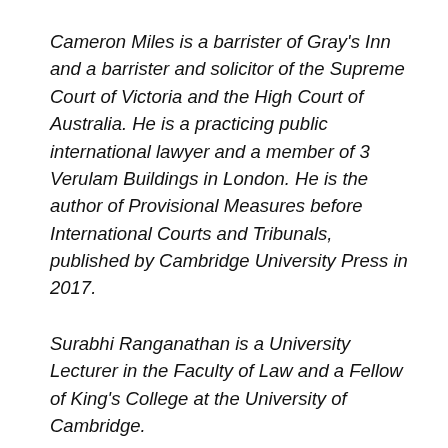Cameron Miles is a barrister of Gray's Inn and a barrister and solicitor of the Supreme Court of Victoria and the High Court of Australia. He is a practicing public international lawyer and a member of 3 Verulam Buildings in London. He is the author of Provisional Measures before International Courts and Tribunals, published by Cambridge University Press in 2017.
Surabhi Ranganathan is a University Lecturer in the Faculty of Law and a Fellow of King's College at the University of Cambridge.
[This article first appeared on EJIL: Talk! and can be accessed here: https://www.ejiltalk.org/some-thoughts-on-the-jadhav-case-jurisdiction-merits-and-the-effect-of-a-presidential-communication/]